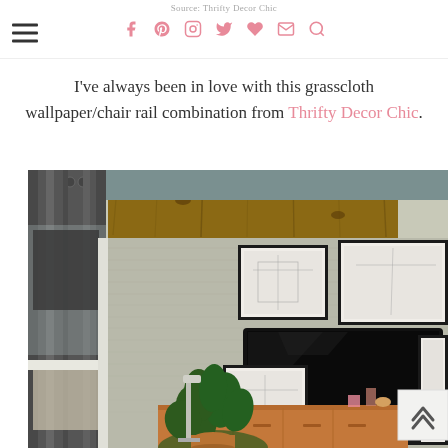Source: Thrifty Decor Chic
I've always been in love with this grasscloth wallpaper/chair rail combination from Thrifty Decor Chic.
[Figure (photo): Interior room photo showing grasscloth wallpaper with a wood-beamed ceiling feature, dark curtains on left, framed black and white artwork gallery wall with flat-screen TV mounted in center, a plant and wooden dresser/console in foreground. Back-to-top arrow button in lower right corner.]